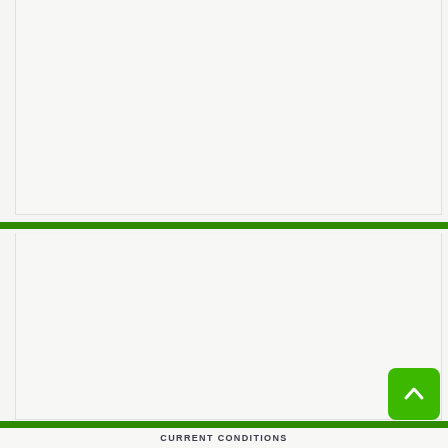[Figure (other): Top white/light grey panel, empty content area]
[Figure (other): Bottom white/light grey panel, empty content area with scroll-to-top button (green rounded square with upward chevron arrow)]
CURRENT CONDITIONS